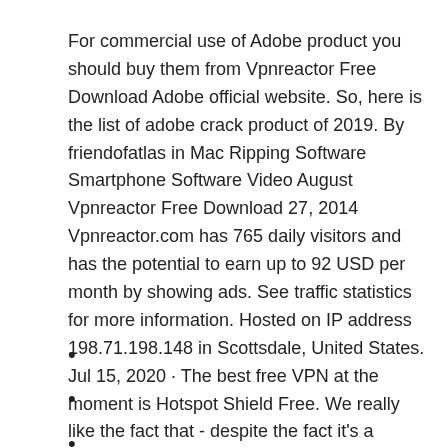For commercial use of Adobe product you should buy them from Vpnreactor Free Download Adobe official website. So, here is the list of adobe crack product of 2019. By friendofatlas in Mac Ripping Software Smartphone Software Video August Vpnreactor Free Download 27, 2014 Vpnreactor.com has 765 daily visitors and has the potential to earn up to 92 USD per month by showing ads. See traffic statistics for more information. Hosted on IP address 198.71.198.148 in Scottsdale, United States. Jul 15, 2020 · The best free VPN at the moment is Hotspot Shield Free. We really like the fact that - despite the fact it's a freebie - you basically get access to the full version of the service.